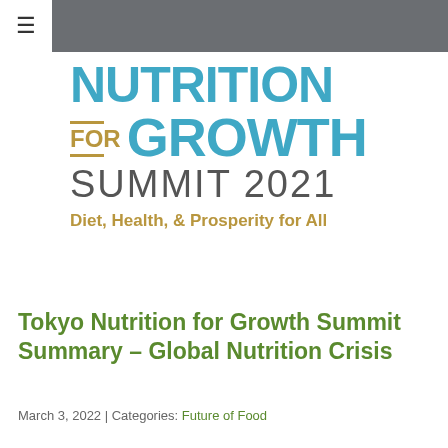≡
[Figure (logo): Nutrition for Growth Summit 2021 logo with tagline 'Diet, Health, & Prosperity for All'. NUTRITION and GROWTH in teal/blue, FOR in gold/brown with horizontal lines, SUMMIT 2021 in gray.]
Tokyo Nutrition for Growth Summit Summary – Global Nutrition Crisis
March 3, 2022 | Categories: Future of Food